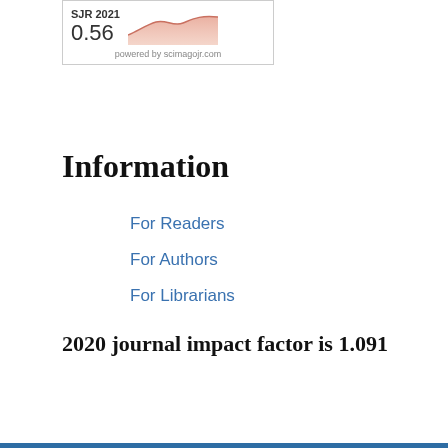[Figure (other): SJR 2021 widget showing score 0.56 with a salmon/peach area chart trend line, powered by scimagojr.com]
Information
For Readers
For Authors
For Librarians
2020 journal impact factor is 1.091